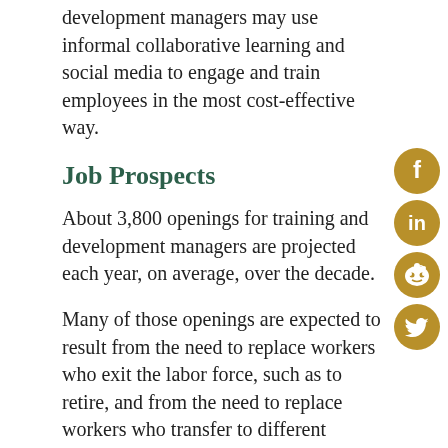development managers may use informal collaborative learning and social media to engage and train employees in the most cost-effective way.
Job Prospects
About 3,800 openings for training and development managers are projected each year, on average, over the decade.
Many of those openings are expected to result from the need to replace workers who exit the labor force, such as to retire, and from the need to replace workers who transfer to different occupations. Overall, job prospects should be favorable due to the continuing need for workplace training and education.
For More Information